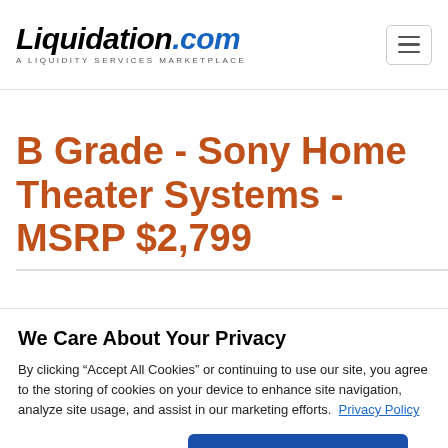Liquidation.com — A LIQUIDITY SERVICES MARKETPLACE
B Grade - Sony Home Theater Systems - MSRP $2,799
We Care About Your Privacy
By clicking “Accept All Cookies” or continuing to use our site, you agree to the storing of cookies on your device to enhance site navigation, analyze site usage, and assist in our marketing efforts. Privacy Policy
Customize Settings | Accept All Cookies